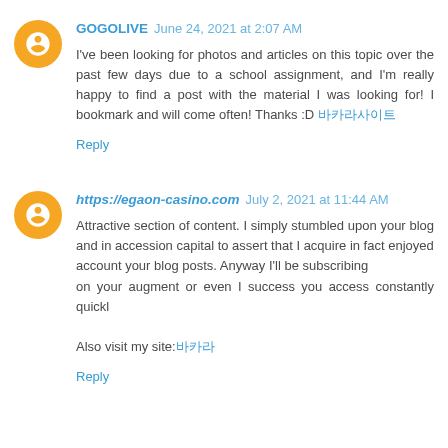GOGOLIVE June 24, 2021 at 2:07 AM
I've been looking for photos and articles on this topic over the past few days due to a school assignment, and I'm really happy to find a post with the material I was looking for! I bookmark and will come often! Thanks :D 바카라사이트
Reply
https://egaon-casino.com July 2, 2021 at 11:44 AM
Attractive section of content. I simply stumbled upon your blog and in accession capital to assert that I acquire in fact enjoyed
account your blog posts. Anyway I'll be subscribing
on your augment or even I success you access constantly quickl

Also visit my site:바카라
Reply